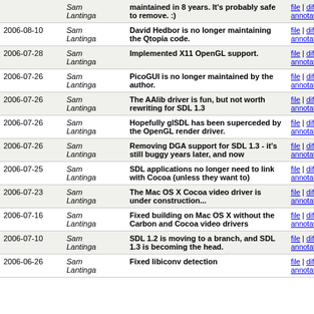| Date | Author | Message | Links |
| --- | --- | --- | --- |
|  | Sam Lantinga | maintained in 8 years. It's probably safe to remove. :) | file | diff | annotate |
| 2006-08-10 | Sam Lantinga | David Hedbor is no longer maintaining the Qtopia code. | file | diff | annotate |
| 2006-07-28 | Sam Lantinga | Implemented X11 OpenGL support. | file | diff | annotate |
| 2006-07-26 | Sam Lantinga | PicoGUI is no longer maintained by the author. | file | diff | annotate |
| 2006-07-26 | Sam Lantinga | The AAlib driver is fun, but not worth rewriting for SDL 1.3 | file | diff | annotate |
| 2006-07-26 | Sam Lantinga | Hopefully glSDL has been superceded by the OpenGL render driver. | file | diff | annotate |
| 2006-07-26 | Sam Lantinga | Removing DGA support for SDL 1.3 - it's still buggy years later, and now | file | diff | annotate |
| 2006-07-25 | Sam Lantinga | SDL applications no longer need to link with Cocoa (unless they want to) | file | diff | annotate |
| 2006-07-23 | Sam Lantinga | The Mac OS X Cocoa video driver is under construction... | file | diff | annotate |
| 2006-07-16 | Sam Lantinga | Fixed building on Mac OS X without the Carbon and Cocoa video drivers | file | diff | annotate |
| 2006-07-10 | Sam Lantinga | SDL 1.2 is moving to a branch, and SDL 1.3 is becoming the head. | file | diff | annotate |
| 2006-06-26 | Sam Lantinga | Fixed libiconv detection | file | diff | annotate |